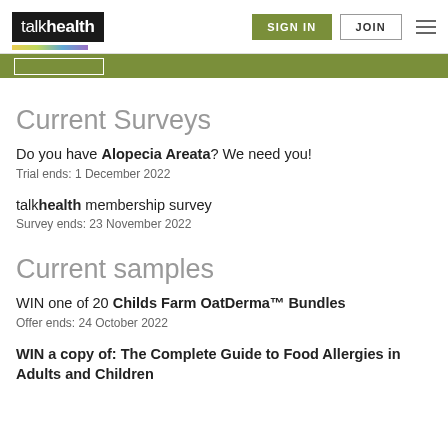talkhealth | SIGN IN | JOIN
Current Surveys
Do you have Alopecia Areata? We need you!
Trial ends: 1 December 2022
talkhealth membership survey
Survey ends: 23 November 2022
Current samples
WIN one of 20 Childs Farm OatDerma™ Bundles
Offer ends: 24 October 2022
WIN a copy of: The Complete Guide to Food Allergies in Adults and Children